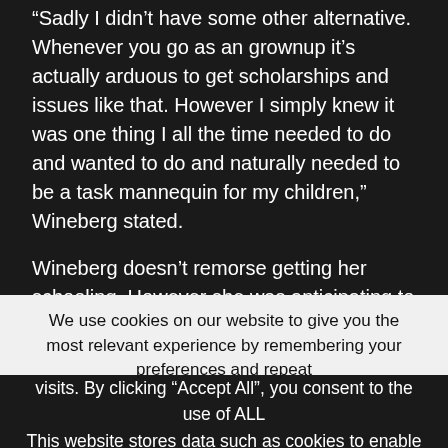“Sadly I didn’t have some other alternative. Whenever you go as an grownup it’s actually arduous to get scholarships and issues like that. However I simply knew it was one thing I all the time needed to do and wanted to do and naturally needed to be a task mannequin for my children,” Wineberg stated.
Wineberg doesn’t remorse getting her schooling. However she was anticipating to get a job within the
We use cookies on our website to give you the most relevant experience by remembering your preferences and repeat visits. By clicking “Accept All”, you consent to the use of ALL
This website stores data such as cookies to enable necessary site functionality, including analytics, targeting, and personalization. By remaining on this website you indicate your consent Cookie Policy